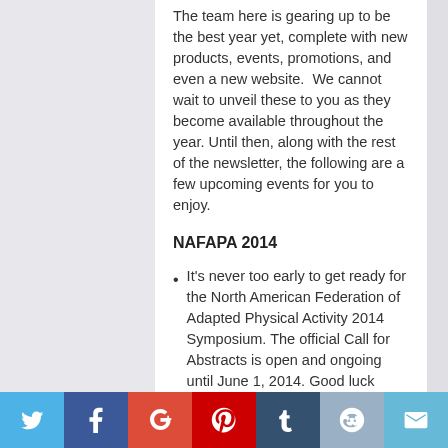The team here is gearing up to be the best year yet, complete with new products, events, promotions, and even a new website.  We cannot wait to unveil these to you as they become available throughout the year. Until then, along with the rest of the newsletter, the following are a few upcoming events for you to enjoy.
NAFAPA 2014
It's never too early to get ready for the North American Federation of Adapted Physical Activity 2014 Symposium. The official Call for Abstracts is open and ongoing until June 1, 2014. Good luck submitting, and we hope to see you in October!
October 16-18, 2014
University of Michigan, Ann Arbor, MI